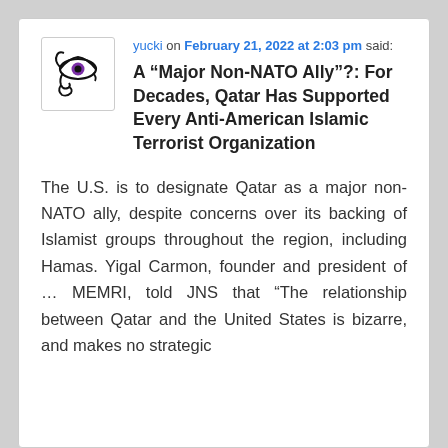[Figure (logo): Eye of Horus logo with purple iris, black line art, used as user avatar]
yucki on February 21, 2022 at 2:03 pm said:
A “Major Non-NATO Ally”?: For Decades, Qatar Has Supported Every Anti-American Islamic Terrorist Organization
The U.S. is to designate Qatar as a major non-NATO ally, despite concerns over its backing of Islamist groups throughout the region, including Hamas. Yigal Carmon, founder and president of … MEMRI, told JNS that “The relationship between Qatar and the United States is bizarre, and makes no strategic